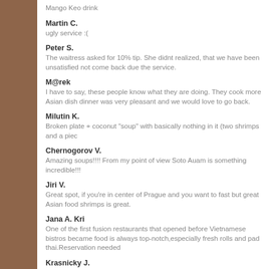Mango Keo drink
Martin C.
ugly service :(
Peter S.
The waitress asked for 10% tip. She didnt realized, that we have been unsatisfied not come back due the service.
M@rek
I have to say, these people know what they are doing. They cook more Asian dish dinner was very pleasant and we would love to go back.
Milutin K.
Broken plate + coconut "soup" with basically nothing in it (two shrimps and a piec
Chernogorov V.
Amazing soups!!!! From my point of view Soto Auam is something incredible!!!
Jiri V.
Great spot, if you're in center of Prague and you want to fast but great Asian food shrimps is great.
Jana A. Kri
One of the first fusion restaurants that opened before Vietnamese bistros became food is always top-notch,especially fresh rolls and pad thai.Reservation needed
Krasnicky J.